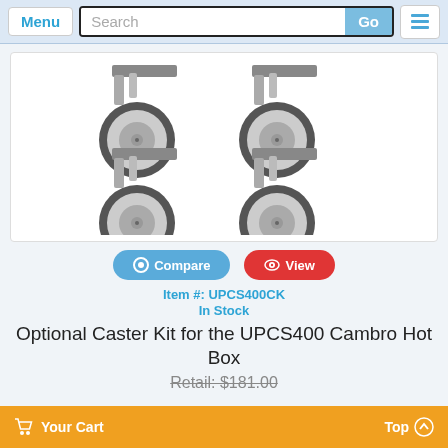Menu | Search | Go
[Figure (photo): Four caster wheels arranged in a 2x2 grid, showing swivel casters with grey wheels and metal brackets, for the UPCS400 Cambro Hot Box]
Compare | View
Item #: UPCS400CK
In Stock
Optional Caster Kit for the UPCS400 Cambro Hot Box
Retail: $181.00
Your Cart | Top